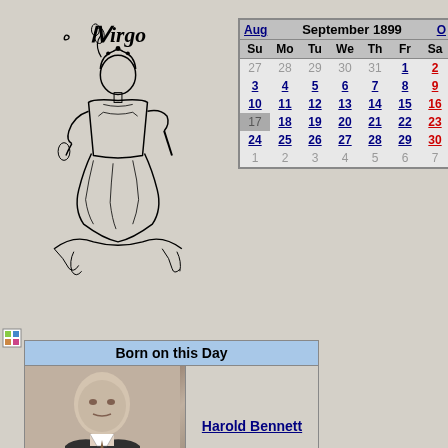[Figure (illustration): Virgo zodiac sign illustration with title 'Virgo' in old-style font, showing a maiden figure with plants]
| Su | Mo | Tu | We | Th | Fr | Sa |
| --- | --- | --- | --- | --- | --- | --- |
| 27 | 28 | 29 | 30 | 31 | 1 | 2 |
| 3 | 4 | 5 | 6 | 7 | 8 | 9 |
| 10 | 11 | 12 | 13 | 14 | 15 | 16 |
| 17 | 18 | 19 | 20 | 21 | 22 | 23 |
| 24 | 25 | 26 | 27 | 28 | 29 | 30 |
| 1 | 2 | 3 | 4 | 5 | 6 | 7 |
| Born on this Day |
| --- |
| Harold Bennett photo | Harold Bennett |
| Winnie Lightner photo | Winnie Lightner |